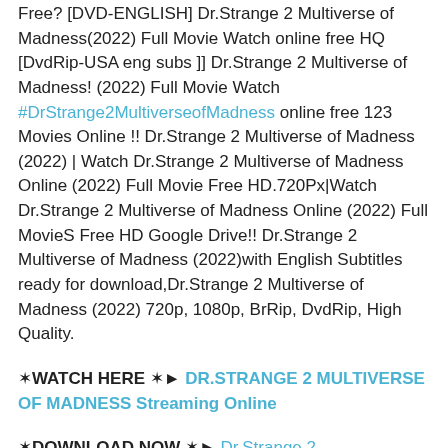Free? [DVD-ENGLISH] Dr.Strange 2 Multiverse of Madness(2022) Full Movie Watch online free HQ [DvdRip-USA eng subs ]] Dr.Strange 2 Multiverse of Madness! (2022) Full Movie Watch #DrStrange2MultiverseofMadness online free 123 Movies Online !! Dr.Strange 2 Multiverse of Madness (2022) | Watch Dr.Strange 2 Multiverse of Madness Online (2022) Full Movie Free HD.720Px|Watch Dr.Strange 2 Multiverse of Madness Online (2022) Full MovieS Free HD Google Drive!! Dr.Strange 2 Multiverse of Madness (2022)with English Subtitles ready for download,Dr.Strange 2 Multiverse of Madness (2022) 720p, 1080p, BrRip, DvdRip, High Quality.
✶WATCH HERE ✶► DR.STRANGE 2 MULTIVERSE OF MADNESS Streaming Online
✶DOWNLOAD NOW ✶► Dr.Strange 2